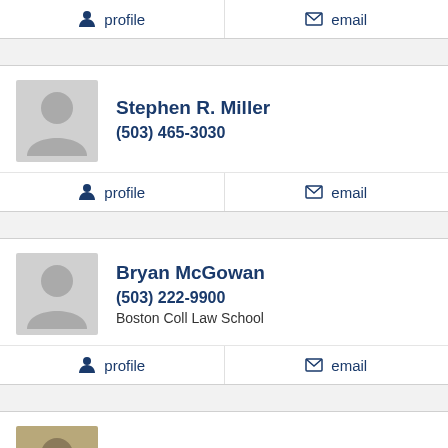profile | email
Stephen R. Miller
(503) 465-3030
profile | email
Bryan McGowan
(503) 222-9900
Boston Coll Law School
profile | email
Jefferson Quist (partial)